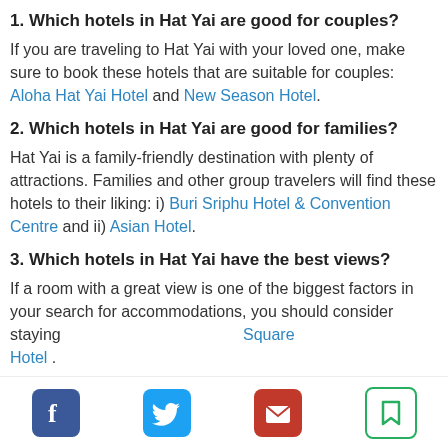1. Which hotels in Hat Yai are good for couples?
If you are traveling to Hat Yai with your loved one, make sure to book these hotels that are suitable for couples: Aloha Hat Yai Hotel and New Season Hotel.
2. Which hotels in Hat Yai are good for families?
Hat Yai is a family-friendly destination with plenty of attractions. Families and other group travelers will find these hotels to their liking: i) Buri Sriphu Hotel & Convention Centre and ii) Asian Hotel.
3. Which hotels in Hat Yai have the best views?
If a room with a great view is one of the biggest factors in your search for accommodations, you should consider staying ... Square Hotel.
[Figure (other): Social share icons: Facebook, Twitter, Email, Bookmark]